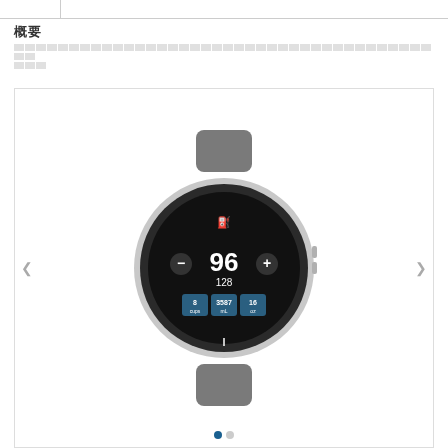[search bar / navigation bar]
概要
[Japanese body text describing product features]
[Figure (photo): Garmin smartwatch (silver case with gray band) displaying hydration tracking app showing 96 cups, 128, 8 cups, 3587 mL, 16 oz on dark screen. Carousel navigation with left/right arrows and two dots indicator at bottom.]